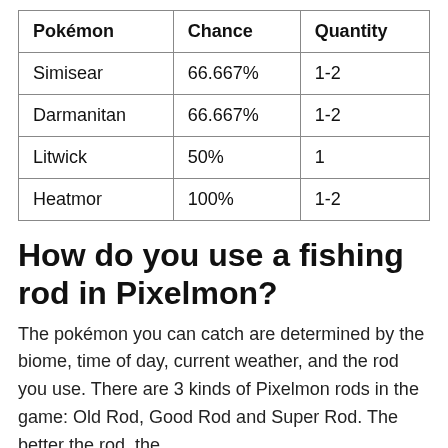| Pokémon | Chance | Quantity |
| --- | --- | --- |
| Simisear | 66.667% | 1-2 |
| Darmanitan | 66.667% | 1-2 |
| Litwick | 50% | 1 |
| Heatmor | 100% | 1-2 |
How do you use a fishing rod in Pixelmon?
The pokémon you can catch are determined by the biome, time of day, current weather, and the rod you use. There are 3 kinds of Pixelmon rods in the game: Old Rod, Good Rod and Super Rod. The better the rod, the